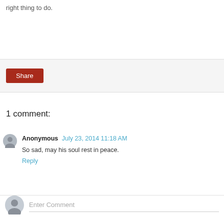right thing to do.
Share
1 comment:
Anonymous July 23, 2014 11:18 AM
So sad, may his soul rest in peace.
Reply
Enter Comment